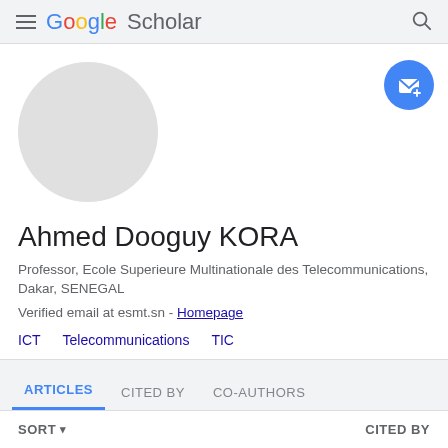Google Scholar
[Figure (illustration): Circular grey avatar placeholder image]
Ahmed Dooguy KORA
Professor, Ecole Superieure Multinationale des Telecommunications, Dakar, SENEGAL
Verified email at esmt.sn - Homepage
ICT
Telecommunications
TIC
ARTICLES   CITED BY   CO-AUTHORS
SORT ▾   CITED BY
An efficient label detection scheme with...